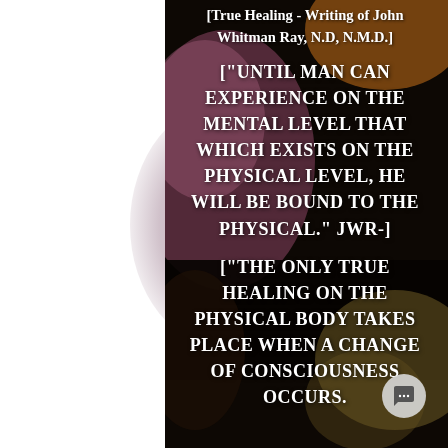[Figure (photo): Background photo, blurred and darkened, showing what appears to be close-up organic/floral shapes in purples, browns, and blacks, serving as backdrop for overlaid text quotes.]
[True Healing - Writing of John Whitman Ray, N.D, N.M.D.]
["UNTIL MAN CAN EXPERIENCE ON THE MENTAL LEVEL THAT WHICH EXISTS ON THE PHYSICAL LEVEL, HE WILL BE BOUND TO THE PHYSICAL." JWR-]
["THE ONLY TRUE HEALING ON THE PHYSICAL BODY TAKES PLACE WHEN A CHANGE OF CONSCIOUSNESS OCCURS."]